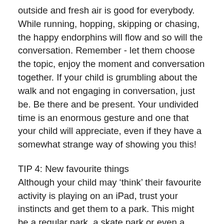outside and fresh air is good for everybody. While running, hopping, skipping or chasing, the happy endorphins will flow and so will the conversation. Remember - let them choose the topic, enjoy the moment and conversation together. If your child is grumbling about the walk and not engaging in conversation, just be. Be there and be present. Your undivided time is an enormous gesture and one that your child will appreciate, even if they have a somewhat strange way of showing you this!
TIP 4: New favourite things
Although your child may 'think' their favourite activity is playing on an iPad, trust your instincts and get them to a park. This might be a regular park, a skate park or even a skateit Kids b...